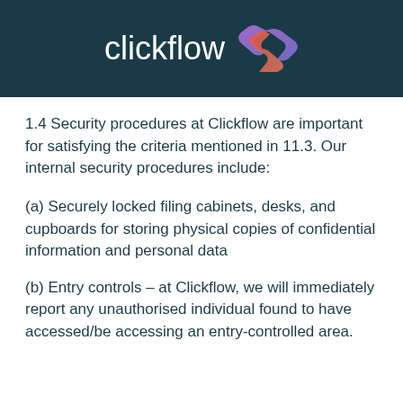[Figure (logo): Clickflow logo with stylized double-arrow icon in pink/purple gradient on dark teal background]
1.4 Security procedures at Clickflow are important for satisfying the criteria mentioned in 11.3. Our internal security procedures include:
(a) Securely locked filing cabinets, desks, and cupboards for storing physical copies of confidential information and personal data
(b) Entry controls – at Clickflow, we will immediately report any unauthorised individual found to have accessed/be accessing an entry-controlled area.